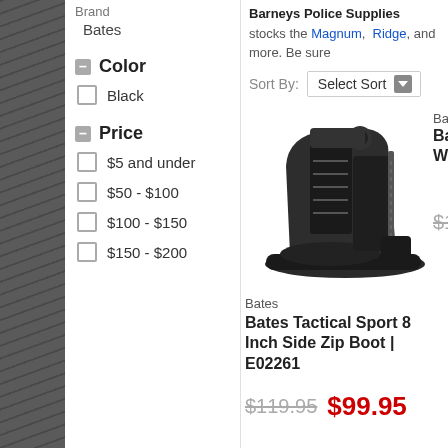Brand
Bates
Color
Black
Price
$5 and under
$50 - $100
$100 - $150
$150 - $200
Barneys Police Supplies stocks the Magnum, Ridge, and more. Be sure
Sort By: Select Sort
[Figure (photo): Black Bates Tactical Sport 8 Inch Side Zip Boot product photo]
Bates
Bates Tactical Sport 8 Inch Side Zip Boot | E02261
$119.95  $99.95
Bat Bat Wi
$1